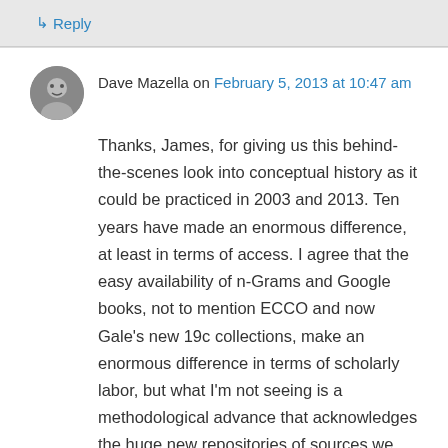↳ Reply
Dave Mazella on February 5, 2013 at 10:47 am
Thanks, James, for giving us this behind-the-scenes look into conceptual history as it could be practiced in 2003 and 2013. Ten years have made an enormous difference, at least in terms of access. I agree that the easy availability of n-Grams and Google books, not to mention ECCO and now Gale's new 19c collections, make an enormous difference in terms of scholarly labor, but what I'm not seeing is a methodological advance that acknowledges the huge new repositories of sources we now have. Or am I missing something?